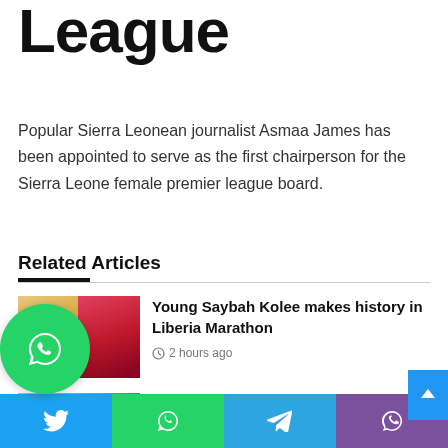League
Popular Sierra Leonean journalist Asmaa James has been appointed to serve as the first chairperson for the Sierra Leone female premier league board.
Related Articles
[Figure (photo): Thumbnail image for article about Young Saybah Kolee making history in Liberia Marathon]
Young Saybah Kolee makes history in Liberia Marathon
2 hours ago
[Figure (photo): Thumbnail image for article about Housemates Salone Season Three Winner Julie Tombo]
Housemates Salone Season Three Winner Julie Tombo reveals plans to